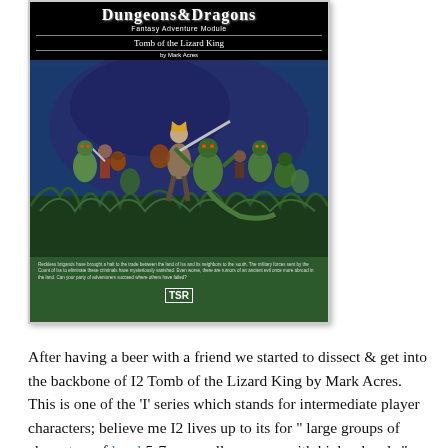[Figure (illustration): Cover of Dungeons & Dragons Fantasy Adventure Module 'Tomb of the Lizard King' by Mark Acres, published by TSR. The cover shows a fantasy battle scene with adventurers fighting lizard-like creatures. The top has the D&D logo in white on black background, followed by the module title and author. The bottom has a green background with a blurb and TSR logo.]
After having a beer with a friend we started to dissect & get into the backbone of I2 Tomb of the Lizard King by Mark Acres. This is one of the 'I' series which stands for intermediate player characters; believe me I2 lives up to its for " large groups of characters of level 5-7, or smaller groups with higher levels."